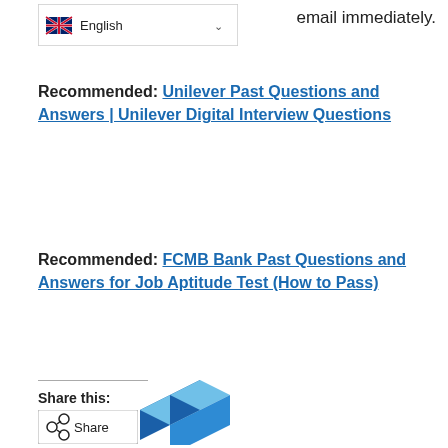email immediately.
[Figure (screenshot): Language selector dropdown showing British flag and 'English' label with chevron]
Recommended:  Unilever Past Questions and Answers | Unilever Digital Interview Questions
Recommended:  FCMB Bank Past Questions and Answers for Job Aptitude Test (How to Pass)
Share this:
[Figure (illustration): Blue geometric cube/hexagonal logo mark at the bottom of the page]